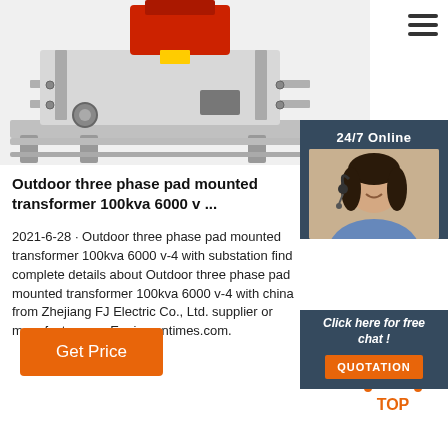[Figure (photo): Outdoor three phase pad mounted transformer machine photo, showing metal frame, red motor, rails, and components.]
Outdoor three phase pad mounted transformer 100kva 6000 v ...
2021-6-28 · Outdoor three phase pad mounted transformer 100kva 6000 v-4 with substation find complete details about Outdoor three phase pad mounted transformer 100kva 6000 v-4 with china from Zhejiang FJ Electric Co., Ltd. supplier or manufacturer on Equipmentimes.com.
[Figure (photo): 24/7 Online customer service panel with photo of female agent wearing headset, smiling.]
Click here for free chat !
QUOTATION
Get Price
[Figure (other): TOP icon with orange dotted triangle and orange text TOP]